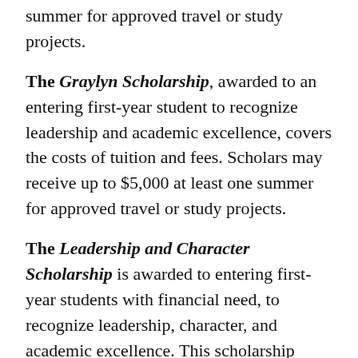summer for approved travel or study projects.
The Graylyn Scholarship, awarded to an entering first-year student to recognize leadership and academic excellence, covers the costs of tuition and fees. Scholars may receive up to $5,000 at least one summer for approved travel or study projects.
The Leadership and Character Scholarship is awarded to entering first-year students with financial need, to recognize leadership, character, and academic excellence. This scholarship covers the costs of tuition, fees, housing and meals, and includes an allowance for books and personal expenses. Scholars may receive up to $5,000 at least one summer for approved travel or study projects.